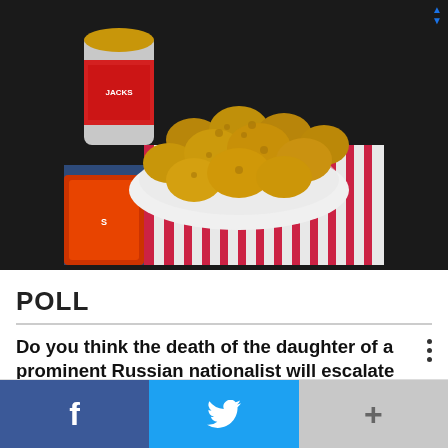[Figure (photo): Advertisement photo showing peanut butter balls/cookies in a bowl with a jar of peanut butter and a bag of chips in the background on a dark surface with red and white striped cloth]
POLL
Do you think the death of the daughter of a prominent Russian nationalist will escalate the war in Ukraine?